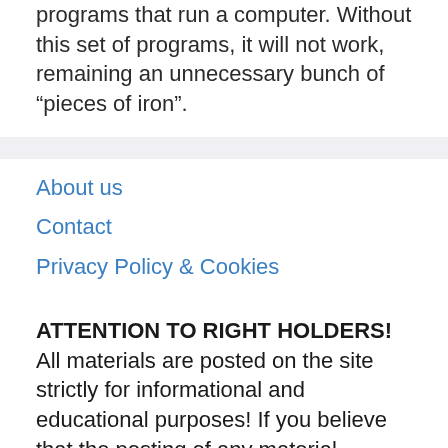programs that run a computer. Without this set of programs, it will not work, remaining an unnecessary bunch of “pieces of iron”.
About us
Contact
Privacy Policy & Cookies
ATTENTION TO RIGHT HOLDERS! All materials are posted on the site strictly for informational and educational purposes! If you believe that the posting of any material infringes your copyright, be sure to contact us through the contact form and your material will be removed!